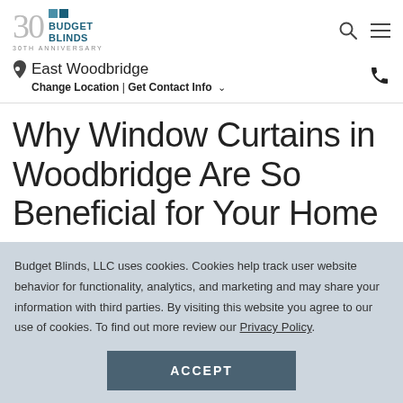Budget Blinds 30th Anniversary
East Woodbridge
Change Location | Get Contact Info
Why Window Curtains in Woodbridge Are So Beneficial for Your Home
Budget Blinds, LLC uses cookies. Cookies help track user website behavior for functionality, analytics, and marketing and may share your information with third parties. By visiting this website you agree to our use of cookies. To find out more review our Privacy Policy.